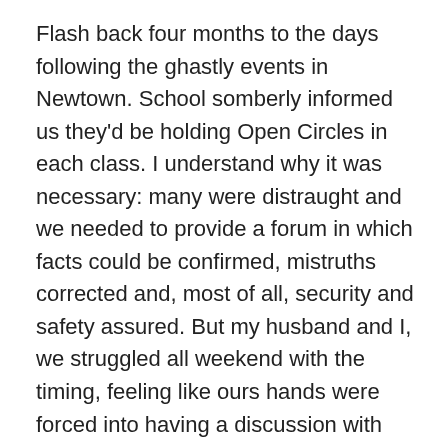Flash back four months to the days following the ghastly events in Newtown. School somberly informed us they'd be holding Open Circles in each class. I understand why it was necessary: many were distraught and we needed to provide a forum in which facts could be confirmed, mistruths corrected and, most of all, security and safety assured. But my husband and I, we struggled all weekend with the timing, feeling like ours hands were forced into having a discussion with children before school resumed, so that they could hear it from us first: the two people they depend on most for wellbeing, confidence, faith. I, for one, was not willing or ready for the responsibility of penetrating their carefree universe with the ugly reality that bad things happen to good people, without cause or sense. I needed more time to process, find the right words, consult with other parents. But the clock was ticking, the weekend